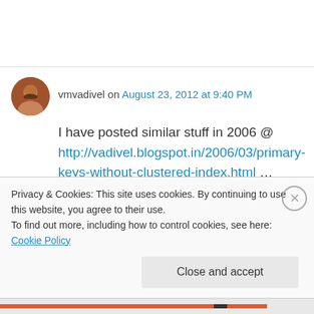vmvadivel on August 23, 2012 at 9:40 PM
I have posted similar stuff in 2006 @ http://vadivel.blogspot.in/2006/03/primary-keys-without-clustered-index.html …
★ Like
↵ Reply
Privacy & Cookies: This site uses cookies. By continuing to use this website, you agree to their use.
To find out more, including how to control cookies, see here: Cookie Policy
Close and accept